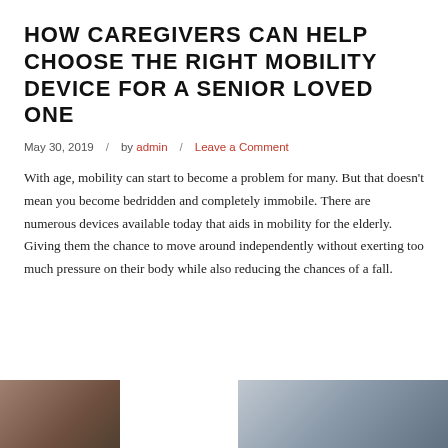HOW CAREGIVERS CAN HELP CHOOSE THE RIGHT MOBILITY DEVICE FOR A SENIOR LOVED ONE
May 30, 2019  /  by admin  /  Leave a Comment
With age, mobility can start to become a problem for many. But that doesn't mean you become bedridden and completely immobile. There are numerous devices available today that aids in mobility for the elderly. Giving them the chance to move around independently without exerting too much pressure on their body while also reducing the chances of a fall.
[Figure (photo): Partial photo strip at bottom of page showing two cropped photos of people, one on the left (warm tones, indoor setting) and one on the right (outdoor/mountain background), separated by a white gap.]